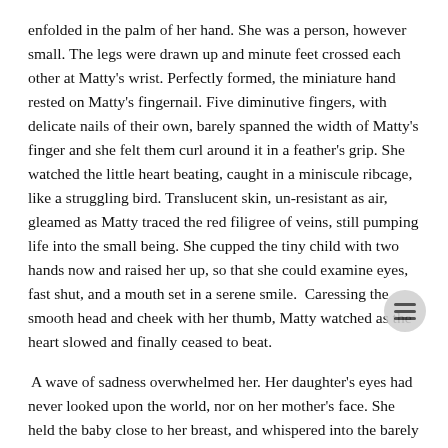enfolded in the palm of her hand. She was a person, however small. The legs were drawn up and minute feet crossed each other at Matty's wrist. Perfectly formed, the miniature hand rested on Matty's fingernail. Five diminutive fingers, with delicate nails of their own, barely spanned the width of Matty's finger and she felt them curl around it in a feather's grip. She watched the little heart beating, caught in a miniscule ribcage, like a struggling bird. Translucent skin, un-resistant as air, gleamed as Matty traced the red filigree of veins, still pumping life into the small being. She cupped the tiny child with two hands now and raised her up, so that she could examine eyes, fast shut, and a mouth set in a serene smile.  Caressing the smooth head and cheek with her thumb, Matty watched as the heart slowed and finally ceased to beat.
A wave of sadness overwhelmed her. Her daughter's eyes had never looked upon the world, nor on her mother's face. She held the baby close to her breast, and whispered into the barely formed ear. 'Goodnight, my angel. I love you.' And as kind darkness closed over Matty, she clung to the hope that